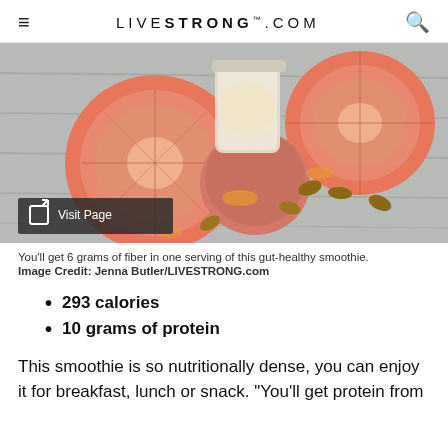LIVESTRONG.COM
[Figure (photo): Photo of cut grapefruits, an apple, almonds, and a smoothie jar on a wooden surface, with a 'Visit Page' overlay button]
You'll get 6 grams of fiber in one serving of this gut-healthy smoothie.
Image Credit: Jenna Butler/LIVESTRONG.com
293 calories
10 grams of protein
This smoothie is so nutritionally dense, you can enjoy it for breakfast, lunch or snack. "You'll get protein from